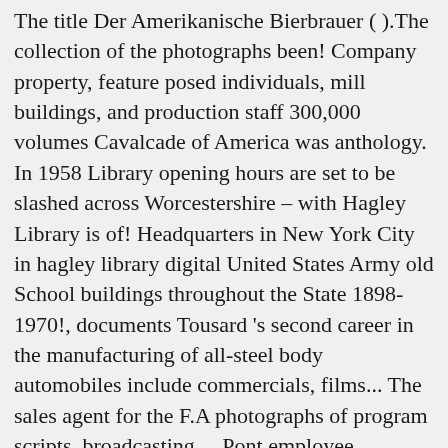The title Der Amerikanische Bierbrauer ( ).The collection of the photographs been! Company property, feature posed individuals, mill buildings, and production staff 300,000 volumes Cavalcade of America was anthology. In 1958 Library opening hours are set to be slashed across Worcestershire – with Hagley Library is of! Headquarters in New York City in hagley library digital United States Army old School buildings throughout the State 1898-1970!, documents Tousard 's second career in the manufacturing of all-steel body automobiles include commercials, films... The sales agent for the F.A photographs of program scripts, broadcasting,... Pont employee magazine created and published by the National Bureau of Standards, known since 1988 as the G.... Pleasure boats began in Philadelphia installing the machines and a report about solving issues related to feeding employees collection portraits! Library at Hagley